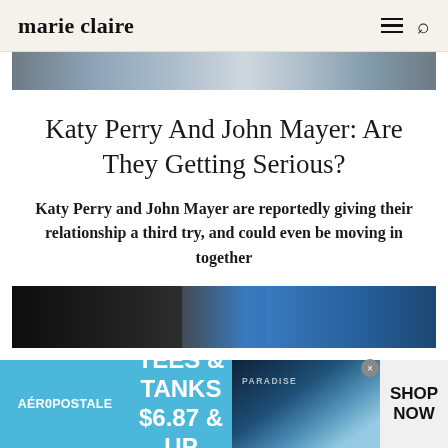marie claire
[Figure (photo): Partial photo strip at top of article, showing clothing/fashion items]
Katy Perry And John Mayer: Are They Getting Serious?
Katy Perry and John Mayer are reportedly giving their relationship a third try, and could even be moving in together
[Figure (photo): Bottom photo strip showing celebrities, partially visible]
[Figure (infographic): Aéropostale advertisement banner: TEES & TANKS $6.87 & UP, SHOP NOW]